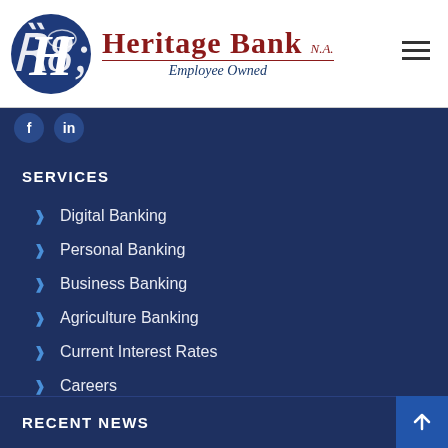[Figure (logo): Heritage Bank N.A. logo — blue circle with stylized H, red serif text 'HERITAGE BANK N.A.' and italic tagline 'Employee Owned']
SERVICES
Digital Banking
Personal Banking
Business Banking
Agriculture Banking
Current Interest Rates
Careers
RECENT NEWS